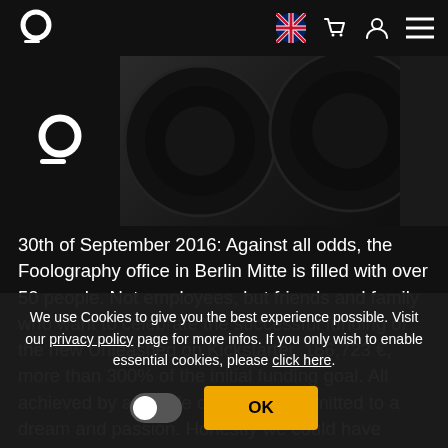Foolography website header navigation with logo, UK flag icon, cart icon, user icon, and menu icon
[Figure (screenshot): Website header showing Foolography logo (white circular letter g with underline) on dark background, and partial product image on the right showing camera lenses/wheels in dark tones]
30th of September 2016: Against all odds, the Foolography office in Berlin Mitte is filled with over 50 people. Not employees, but friends and family who want to celebrate the successful funding of the new Unleashed on Kickstarter. 186,723 €, more than 300% of the initial funding goal. All achieved by a couple of people committed to a dream and passion. Honestly we could have never imagined of
We use Cookies to give you the best experience possible. Visit our privacy policy page for more infos. If you only wish to enable essential cookies, please click here.